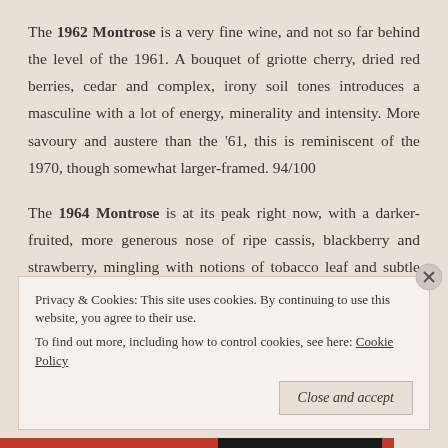The 1962 Montrose is a very fine wine, and not so far behind the level of the 1961. A bouquet of griotte cherry, dried red berries, cedar and complex, irony soil tones introduces a masculine with a lot of energy, minerality and intensity. More savoury and austere than the '61, this is reminiscent of the 1970, though somewhat larger-framed. 94/100
The 1964 Montrose is at its peak right now, with a darker-fruited, more generous nose of ripe cassis, blackberry and strawberry, mingling with notions of tobacco leaf and subtle truffle. On the palate the wine is also quite generous, and
Privacy & Cookies: This site uses cookies. By continuing to use this website, you agree to their use.
To find out more, including how to control cookies, see here: Cookie Policy
Close and accept